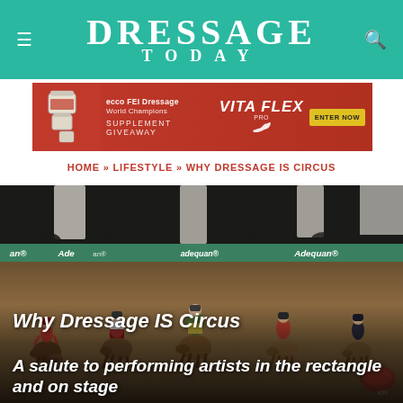DRESSAGE TODAY
[Figure (photo): Advertisement banner for ECCO FEI Dressage World Champions Vita Flex supplement giveaway with product jars on red background and Enter Now button]
HOME » LIFESTYLE » WHY DRESSAGE IS CIRCUS
[Figure (photo): Equestrian dressage performance at night event with riders in colorful costumes on horseback in an arena with Adequan sponsorship banners and audience in background]
Why Dressage IS Circus
A salute to performing artists in the rectangle and on stage